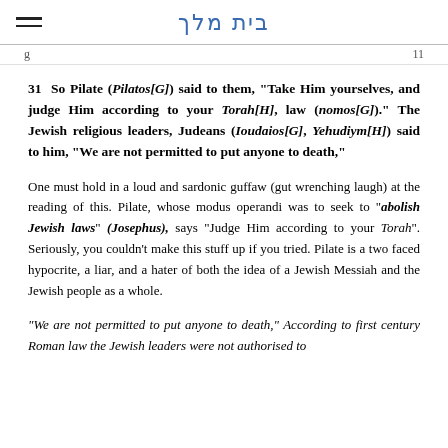בית מלך
31  So Pilate (Pilatos[G]) said to them, "Take Him yourselves, and judge Him according to your Torah[H], law (nomos[G])." The Jewish religious leaders, Judeans (Ioudaios[G], Yehudiym[H]) said to him, "We are not permitted to put anyone to death,"
One must hold in a loud and sardonic guffaw (gut wrenching laugh) at the reading of this. Pilate, whose modus operandi was to seek to "abolish Jewish laws" (Josephus), says "Judge Him according to your Torah". Seriously, you couldn't make this stuff up if you tried. Pilate is a two faced hypocrite, a liar, and a hater of both the idea of a Jewish Messiah and the Jewish people as a whole.
"We are not permitted to put anyone to death," According to first century Roman law the Jewish leaders were not authorised to